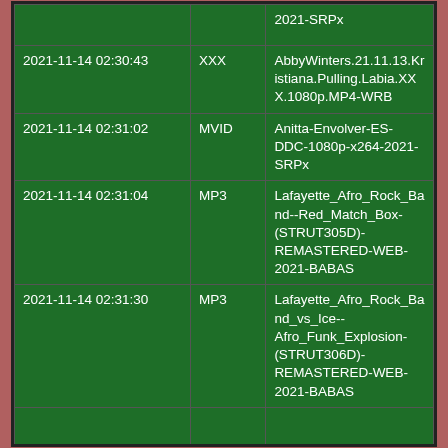|  |  | 2021-SRPx |
| 2021-11-14 02:30:43 | XXX | AbbyWinters.21.11.13.Kristiana.Pulling.Labia.XXX.1080p.MP4-WRB |
| 2021-11-14 02:31:02 | MVID | Anitta-Envolver-ES-DDC-1080p-x264-2021-SRPx |
| 2021-11-14 02:31:04 | MP3 | Lafayette_Afro_Rock_Band--Red_Match_Box-(STRUT305D)-REMASTERED-WEB-2021-BABAS |
| 2021-11-14 02:31:30 | MP3 | Lafayette_Afro_Rock_Band_vs_Ice--Afro_Funk_Explosion-(STRUT306D)-REMASTERED-WEB-2021-BABAS |
|  |  |  |